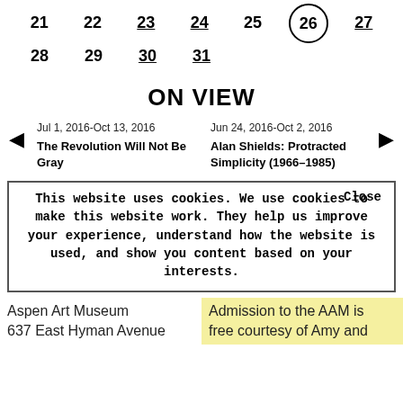| 21 | 22 | 23 | 24 | 25 | 26 | 27 |
| 28 | 29 | 30 | 31 |  |  |  |
ON VIEW
Jul 1, 2016-Oct 13, 2016
The Revolution Will Not Be Gray
Jun 24, 2016-Oct 2, 2016
Alan Shields: Protracted Simplicity (1966–1985)
This website uses cookies. We use cookies to make this website work. They help us improve your experience, understand how the website is used, and show you content based on your interests.
Aspen Art Museum
637 East Hyman Avenue
Admission to the AAM is free courtesy of Amy and